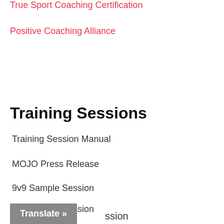True Sport Coaching Certification
Positive Coaching Alliance
Training Sessions
Training Session Manual
MOJO Press Release
9v9 Sample Session
7v7 Sample Session
Translate »
...ssion